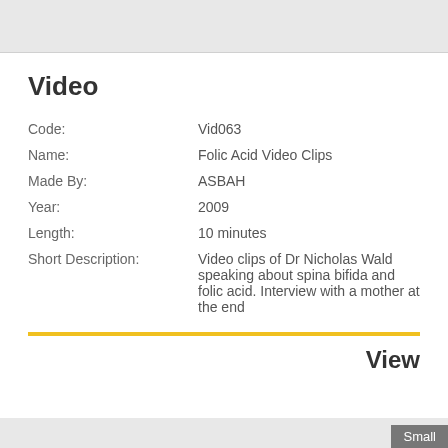Video
| Field | Value |
| --- | --- |
| Code: | Vid063 |
| Name: | Folic Acid Video Clips |
| Made By: | ASBAH |
| Year: | 2009 |
| Length: | 10 minutes |
| Short Description: | Video clips of Dr Nicholas Wald speaking about spina bifida and folic acid. Interview with a mother at the end |
View
Small